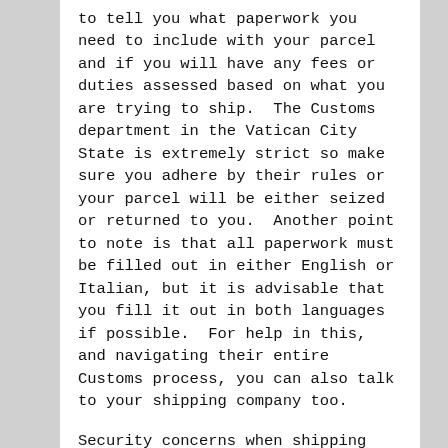to tell you what paperwork you need to include with your parcel and if you will have any fees or duties assessed based on what you are trying to ship.  The Customs department in the Vatican City State is extremely strict so make sure you adhere by their rules or your parcel will be either seized or returned to you.  Another point to note is that all paperwork must be filled out in either English or Italian, but it is advisable that you fill it out in both languages if possible.  For help in this, and navigating their entire Customs process, you can also talk to your shipping company too.
Security concerns when shipping parcels to Vatican City State
The security at the borders and within the